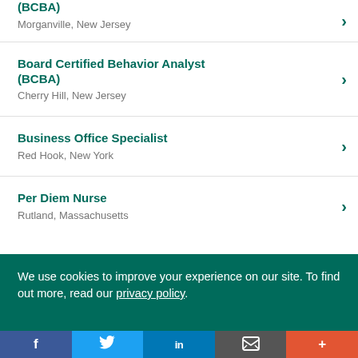(BCBA) — Morganville, New Jersey
Board Certified Behavior Analyst (BCBA) — Cherry Hill, New Jersey
Business Office Specialist — Red Hook, New York
Per Diem Nurse — Rutland, Massachusetts
We use cookies to improve your experience on our site. To find out more, read our privacy policy.
Social share bar: Facebook, Twitter, LinkedIn, Email, More